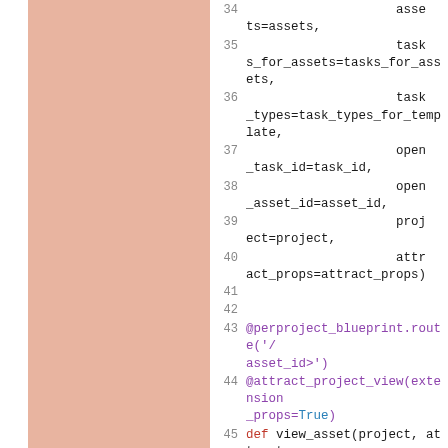[Figure (screenshot): Code editor screenshot showing Python code lines 34-48 with line numbers, pink/salmon left panel, and syntax highlighted code on white background]